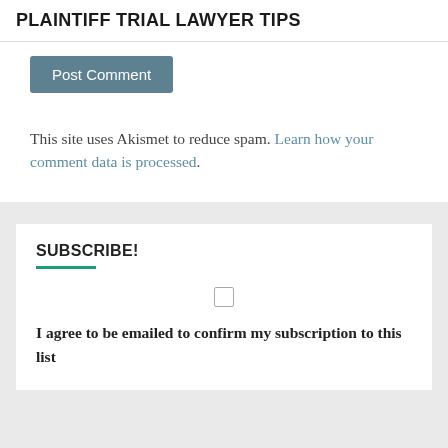PLAINTIFF TRIAL LAWYER TIPS
[Figure (screenshot): Post Comment button with teal/slate background color]
This site uses Akismet to reduce spam. Learn how your comment data is processed.
SUBSCRIBE!
[Figure (screenshot): Checkbox input element, unchecked]
I agree to be emailed to confirm my subscription to this list